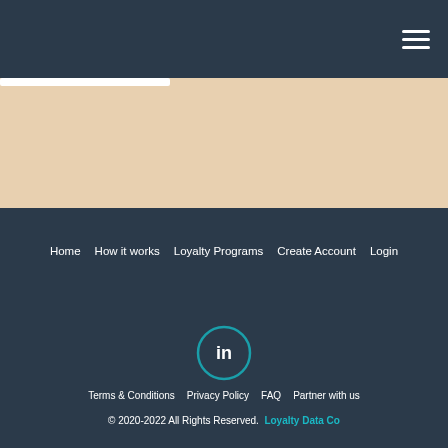Navigation header with hamburger menu
[Figure (illustration): Beige/tan hero section background with a white horizontal bar near the top left]
Home  How it works  Loyalty Programs  Create Account  Login
[Figure (logo): LinkedIn circular icon with teal border on dark navy background]
Terms & Conditions  Privacy Policy  FAQ  Partner with us
© 2020-2022 All Rights Reserved. Loyalty Data Co